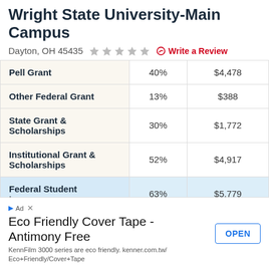Wright State University-Main Campus
Dayton, OH 45435  ★★★★★  Write a Review
|  | % | $ |
| --- | --- | --- |
| Pell Grant | 40% | $4,478 |
| Other Federal Grant | 13% | $388 |
| State Grant & Scholarships | 30% | $1,772 |
| Institutional Grant & Scholarships | 52% | $4,917 |
| Federal Student Loans | 63% | $5,779 |
| te Loans | 5% | $10,219 |
Eco Friendly Cover Tape - Antimony Free
KennFilm 3000 series are eco friendly. kenner.com.tw/Eco+Friendly/Cover+Tape